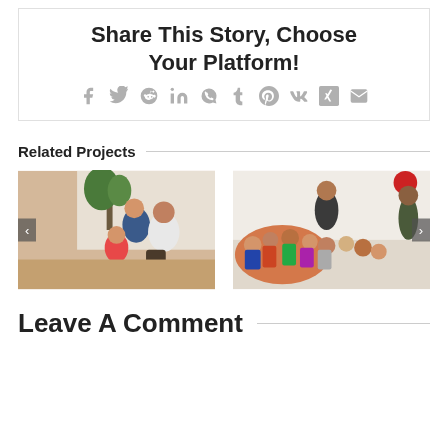Share This Story, Choose Your Platform!
[Figure (infographic): Social sharing icons: Facebook, Twitter, Reddit, LinkedIn, WhatsApp, Tumblr, Pinterest, VK, XING, Email]
Related Projects
[Figure (photo): Photo of a woman and man sitting with a child in a tent or informal setting with a plant in background]
[Figure (photo): Photo of a group of children and adults gathered inside a tent]
Leave A Comment